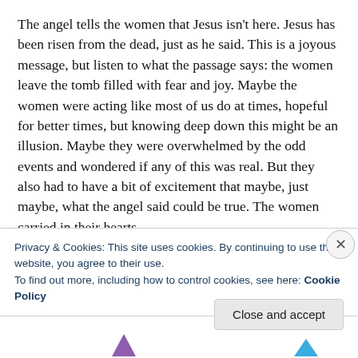The angel tells the women that Jesus isn't here. Jesus has been risen from the dead, just as he said. This is a joyous message, but listen to what the passage says: the women leave the tomb filled with fear and joy. Maybe the women were acting like most of us do at times, hopeful for better times, but knowing deep down this might be an illusion. Maybe they were overwhelmed by the odd events and wondered if any of this was real. But they also had to have a bit of excitement that maybe, just maybe, what the angel said could be true. The women carried in their hearts
Privacy & Cookies: This site uses cookies. By continuing to use this website, you agree to their use.
To find out more, including how to control cookies, see here: Cookie Policy
Close and accept